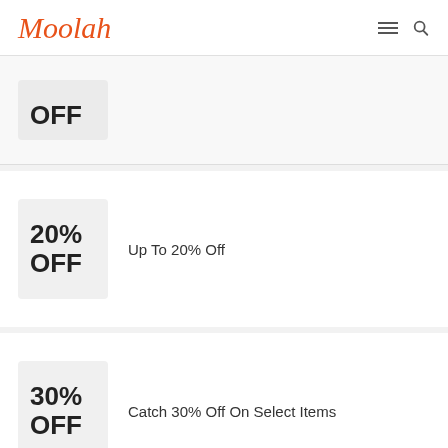Moolah
OFF
20% OFF — Up To 20% Off
30% OFF — Catch 30% Off On Select Items